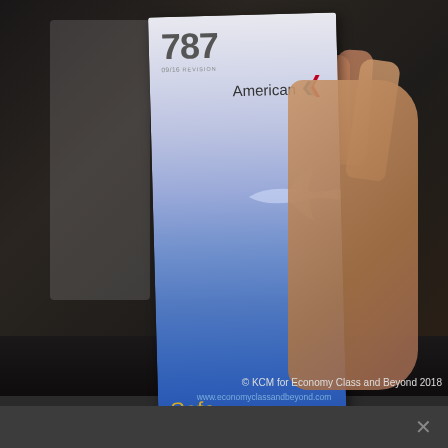[Figure (photo): Photograph of a hand holding an American Airlines Boeing 787 safety card/brochure. The brochure has a gradient background from light gray/white at the top to deep blue at the bottom, featuring the number '787' and '09/16 REVISION' at the top, the American Airlines logo and name in the upper right, a silhouette of a 787 aircraft in the middle, and 'Safe Travels' text in gold at the bottom with small white tagline text. A globe icon appears at the bottom right of the brochure.]
© KCM for Economy Class and Beyond 2018
www.economyclassandbeyond.com